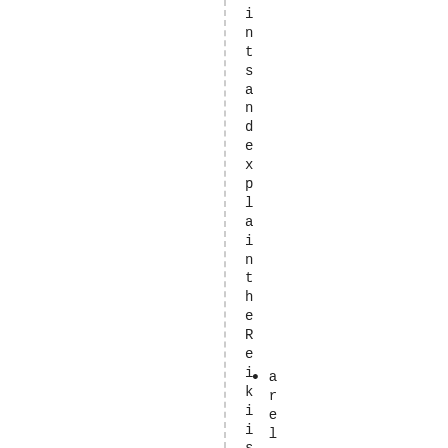intsandexplainthereikiis:
arel